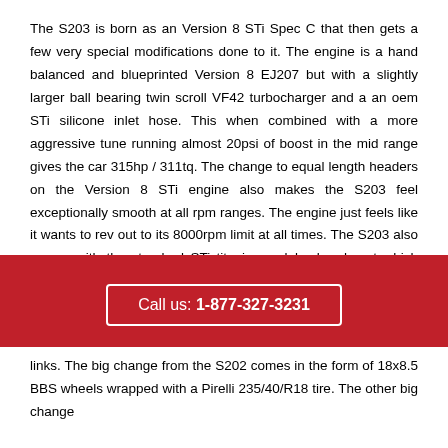The S203 is born as an Version 8 STi Spec C that then gets a few very special modifications done to it. The engine is a hand balanced and blueprinted Version 8 EJ207 but with a slightly larger ball bearing twin scroll VF42 turbocharger and a an oem STi silicone inlet hose. This when combined with a more aggressive tune running almost 20psi of boost in the mid range gives the car 315hp / 311tq. The change to equal length headers on the Version 8 STi engine also makes the S203 feel exceptionally smooth at all rpm ranges. The engine just feels like it wants to rev out to its 8000rpm limit at all times. The S203 also comes with the standard STi titanium axleback exhaust which gives the car a very special sound when paired with the twin scroll equal length headers.
Much like the S202 the tuning didn't stop at the engine. The car
[Figure (other): Red banner with call-to-action phone number: Call us: 1-877-327-3231]
links. The big change from the S202 comes in the form of 18x8.5 BBS wheels wrapped with a Pirelli 235/40/R18 tire. The other big change